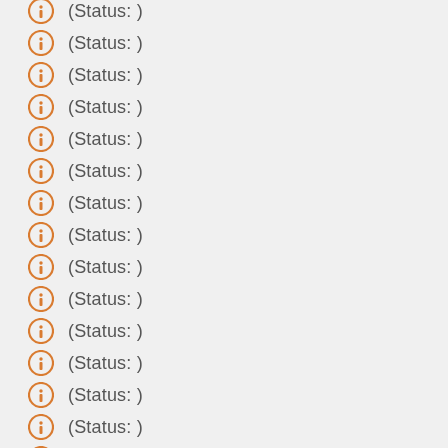(Status: )
(Status: )
(Status: )
(Status: )
(Status: )
(Status: )
(Status: )
(Status: )
(Status: )
(Status: )
(Status: )
(Status: )
(Status: )
(Status: )
(Status: )
(Status: )